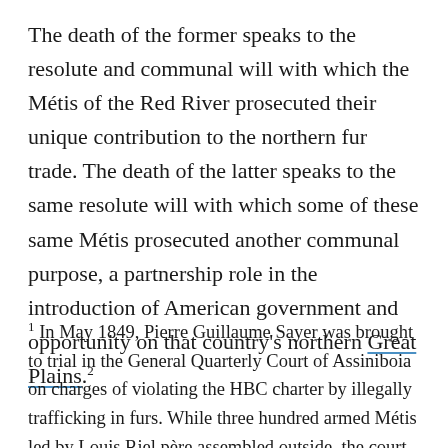The death of the former speaks to the resolute and communal will with which the Métis of the Red River prosecuted their unique contribution to the northern fur trade. The death of the latter speaks to the same resolute will with which some of these same Métis prosecuted another communal purpose, a partnership role in the introduction of American government and opportunity on that country's northern Great Plains.²
¹ In May 1849, Pierre Guillaume Sayer was brought to trial in the General Quarterly Court of Assiniboia on charges of violating the HBC charter by illegally trafficking in furs. While three hundred armed Métis led by Louis Riel père assembled outside, the court